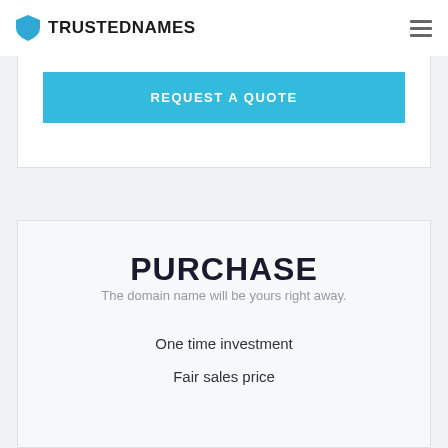TRUSTEDNAMES
REQUEST A QUOTE
PURCHASE
The domain name will be yours right away.
One time investment
Fair sales price